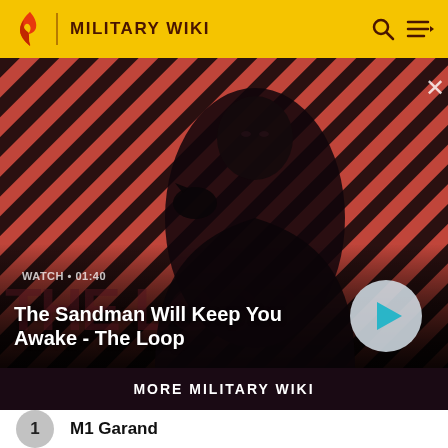MILITARY WIKI
[Figure (screenshot): Hero banner showing a dark-cloaked figure with a raven on their shoulder against a red and black diagonal striped background. Text overlay reads WATCH • 01:40 and The Sandman Will Keep You Awake - The Loop. A play button is shown on the right.]
MORE MILITARY WIKI
1  M1 Garand